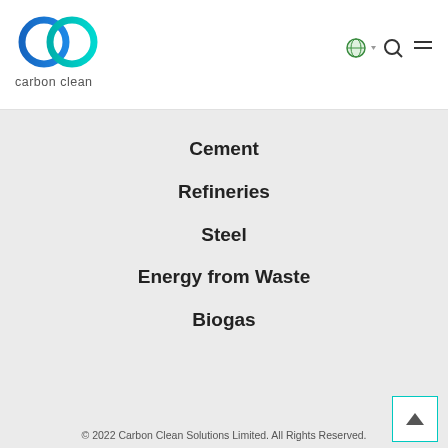[Figure (logo): Carbon Clean logo: two overlapping circles (blue and teal gradient) with text 'carbon clean' below in grey]
[Figure (other): Navigation icons: globe with dropdown, search magnifying glass, hamburger menu]
Cement
Refineries
Steel
Energy from Waste
Biogas
© 2022 Carbon Clean Solutions Limited. All Rights Reserved.